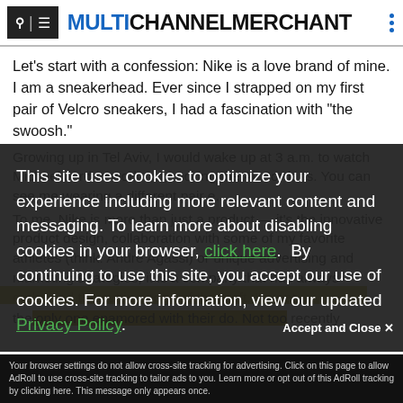MULTICHANNEL MERCHANT
Let's start with a confession: Nike is a love brand of mine. I am a sneakerhead. Ever since I strapped on my first pair of Velcro sneakers, I had a fascination with "the swoosh."
Growing up in Tel Aviv, I would wake up at 3 a.m. to watch Michael Jordan work out, rocking the Air Jordans. You can see me wearing a different pair e...
To me, Nike is more than just a product — it's the innovative product design, collaboration with some of my favorite athletes (think: Andre Agassi) or unique advertising and marketing strategies, it is a company that has always embodied the cutting edge of the craft. I'm not the only one enamored with their do. Not too recently...
This site uses cookies to optimize your experience including more relevant content and messaging. To learn more about disabling cookies in your browser, click here.  By continuing to use this site, you accept our use of cookies. For more information, view our updated Privacy Policy.
Accept and Close ✕
Your browser settings do not allow cross-site tracking for advertising. Click on this page to allow AdRoll to use cross-site tracking to tailor ads to you. Learn more or opt out of this AdRoll tracking by clicking here. This message only appears once.